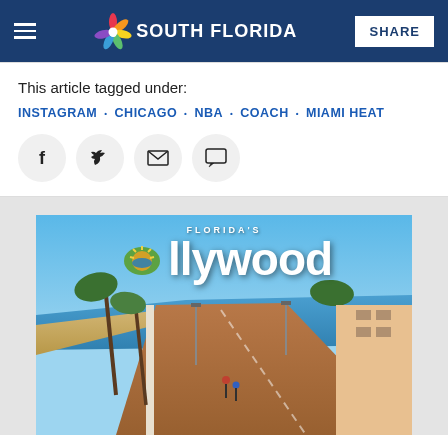NBC 6 South Florida | SHARE
This article tagged under:
INSTAGRAM · CHICAGO · NBA · COACH · MIAMI HEAT
[Figure (screenshot): Florida's Hollywood promotional banner with beach boardwalk photo]
Florida's Hollywood promotional image showing beach boardwalk